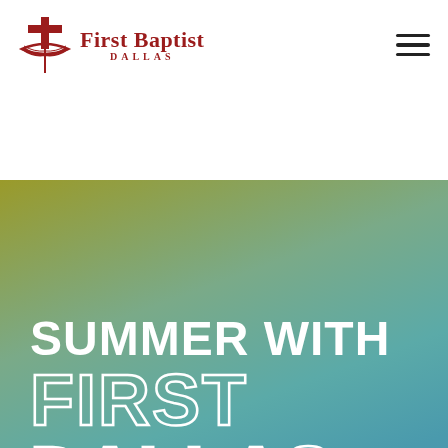[Figure (logo): First Baptist Dallas logo with cross and book icon in red, with serif text 'First Baptist' and 'DALLAS' below]
[Figure (illustration): Hamburger menu icon (three horizontal lines) in top right corner]
[Figure (infographic): Hero banner with gradient background (olive green to teal blue) containing text 'SUMMER WITH FIRST DALLAS']